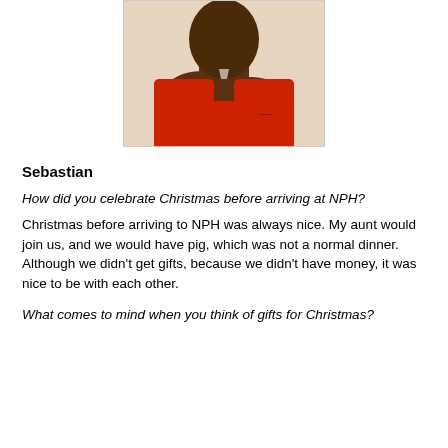[Figure (photo): Photo of Sebastian, a young man in a red t-shirt with arms crossed, photographed from the chest up against a light beige background.]
Sebastian
How did you celebrate Christmas before arriving at NPH?
Christmas before arriving to NPH was always nice. My aunt would join us, and we would have pig, which was not a normal dinner. Although we didn't get gifts, because we didn't have money, it was nice to be with each other.
What comes to mind when you think of gifts for Christmas?